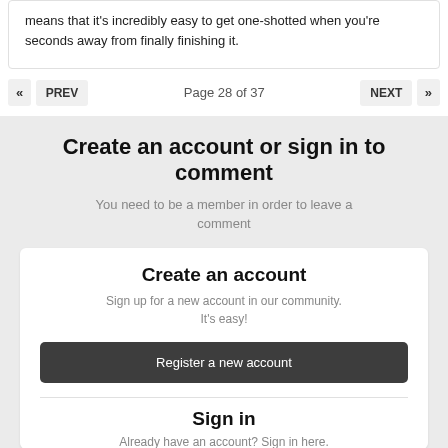means that it's incredibly easy to get one-shotted when you're seconds away from finally finishing it.
Page 28 of 37
Create an account or sign in to comment
You need to be a member in order to leave a comment
Create an account
Sign up for a new account in our community. It's easy!
Register a new account
Sign in
Already have an account? Sign in here.